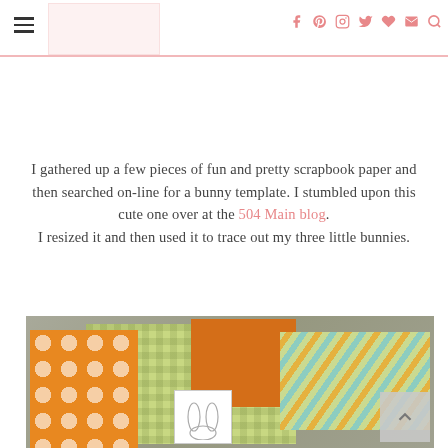Blog navigation header with hamburger menu and social icons (facebook, pinterest, instagram, twitter, heart, email, search)
I gathered up a few pieces of fun and pretty scrapbook paper and then searched on-line for a bunny template. I stumbled upon this cute one over at the 504 Main blog. I resized it and then used it to trace out my three little bunnies.
[Figure (photo): Photo of colorful scrapbook papers laid on a gray surface: orange polka dot paper, solid orange paper, green gingham/checkered paper, and a chevron-pattern paper in green/orange/teal, along with a printed bunny template cutout.]